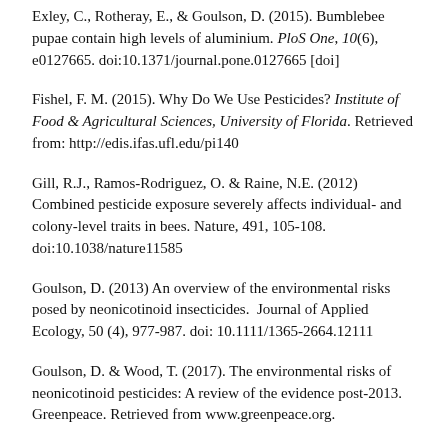Exley, C., Rotheray, E., & Goulson, D. (2015). Bumblebee pupae contain high levels of aluminium. PloS One, 10(6), e0127665. doi:10.1371/journal.pone.0127665 [doi]
Fishel, F. M. (2015). Why Do We Use Pesticides? Institute of Food & Agricultural Sciences, University of Florida. Retrieved from: http://edis.ifas.ufl.edu/pi140
Gill, R.J., Ramos-Rodriguez, O. & Raine, N.E. (2012) Combined pesticide exposure severely affects individual- and colony-level traits in bees. Nature, 491, 105-108. doi:10.1038/nature11585
Goulson, D. (2013) An overview of the environmental risks posed by neonicotinoid insecticides. Journal of Applied Ecology, 50 (4), 977-987. doi: 10.1111/1365-2664.12111
Goulson, D. & Wood, T. (2017). The environmental risks of neonicotinoid pesticides: A review of the evidence post-2013. Greenpeace. Retrieved from www.greenpeace.org.
Hopwood, J., Code, A., Vaughan, M., et al. (2016). How